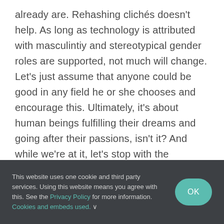already are. Rehashing clichés doesn't help. As long as technology is attributed with masculintiy and stereotypical gender roles are supported, not much will change. Let's just assume that anyone could be good in any field he or she chooses and encourage this. Ultimately, it's about human beings fulfilling their dreams and going after their passions, isn't it? And while we're at it, let's stop with the 'murses' jokes, too.

I'd like to end this post with Dani Siciliano's fitting 'Be
This website uses one cookie and third party services. Using this website means you agree with this. See the Privacy Policy for more information. Cookies and embeds used. ∨